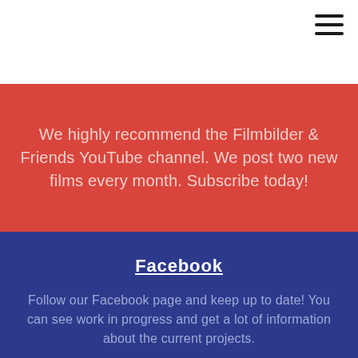We highly recommend the Filmbilder & Friends YouTube channel. We post two new films every month. Subscribe today!
Facebook
Follow our Facebook page and keep up to date! You can see work in progress and get a lot of information about the current projects.